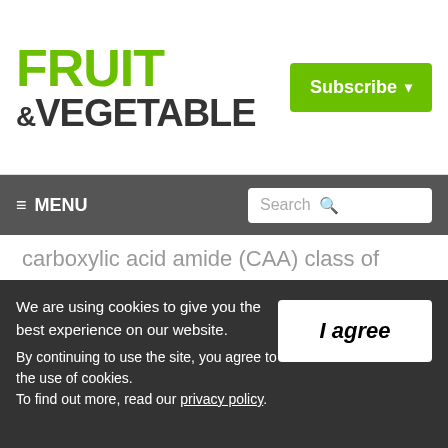FRUIT &VEGETABLE | Subscribe
≡ MENU | Search
carboxylic acid amide (CAA) class of chemistry, part of the Fungicide Resistance Action Committee's Group 40. Revus fungicide is also listed by U.S. EPA as a reduced-risk pesticide. Revus fungicide will offer growers a new tool to manage several important foliar diseases of
We are using cookies to give you the best experience on our website.
By continuing to use the site, you agree to the use of cookies.
To find out more, read our privacy policy.